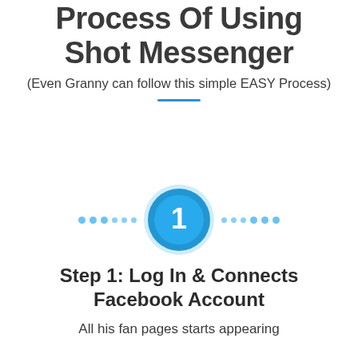Process Of Using Shot Messenger
(Even Granny can follow this simple EASY Process)
[Figure (infographic): Step 1 circle badge with the number 1 in white on a blue circle, flanked by rows of light blue dots on either side]
Step 1: Log In & Connects Facebook Account
All his fan pages starts appearing